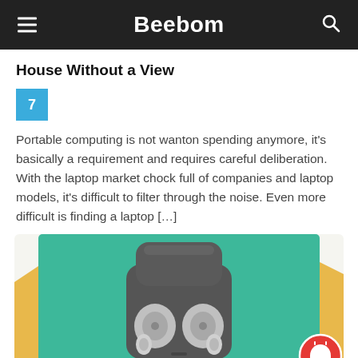Beebom
House Without a View
7
Portable computing is not wanton spending anymore, it's basically a requirement and requires careful deliberation. With the laptop market chock full of companies and laptop models, it's difficult to filter through the noise. Even more difficult is finding a laptop […]
[Figure (photo): Photo of wireless earbuds in an open charging case, placed on a teal/green surface with yellow background elements visible at the edges. A red notification bell button is visible in the bottom right corner.]